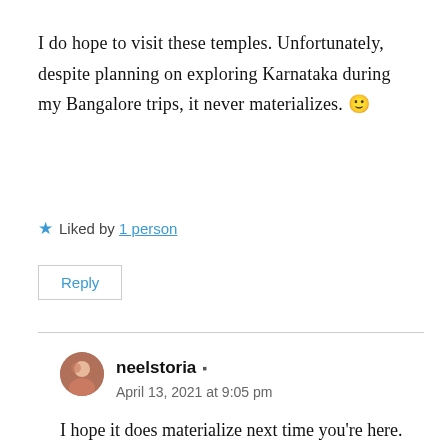I do hope to visit these temples. Unfortunately, despite planning on exploring Karnataka during my Bangalore trips, it never materializes. 🙂
★ Liked by 1 person
Reply
neelstoria ▪
April 13, 2021 at 9:05 pm
I hope it does materialize next time you're here.